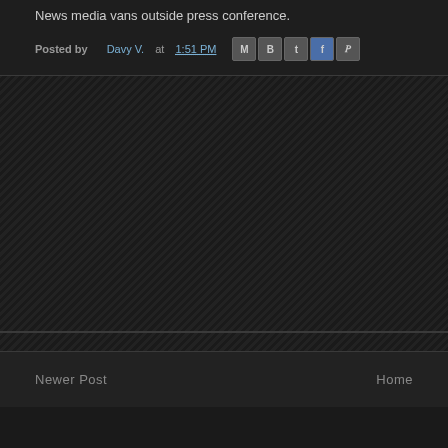News media vans outside press conference.
Posted by Davy V. at 1:51 PM
[Figure (photo): Dark/blank image area representing a photo placeholder with diagonal hatched dark background]
Newer Post    Home